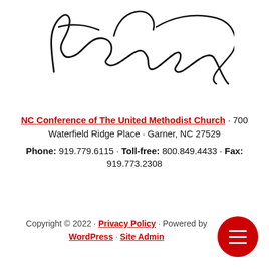[Figure (illustration): Handwritten cursive signature reading 'Leonard E. Fairley']
NC Conference of The United Methodist Church · 700 Waterfield Ridge Place · Garner, NC 27529
Phone: 919.779.6115 · Toll-free: 800.849.4433 · Fax: 919.773.2308
Copyright © 2022 · Privacy Policy · Powered by WordPress · Site Admin